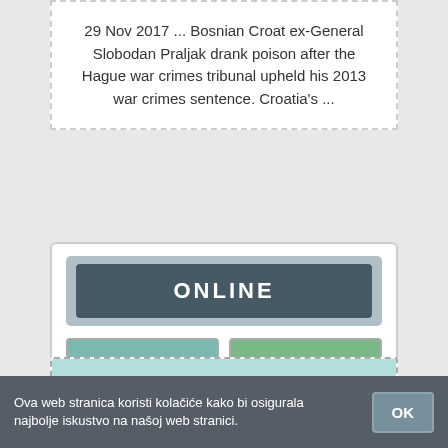29 Nov 2017 ... Bosnian Croat ex-General Slobodan Praljak drank poison after the Hague war crimes tribunal upheld his 2013 war crimes sentence. Croatia's ...
[Figure (screenshot): UI card with ONLINE status label button (dark slate), PREGLED (teal) and POGLED (green) action buttons with icons]
ALL HELP YOU NEED! PRALJAK GENERAL! ALL IN ONE PLACE!
Ova web stranica koristi kolačiće kako bi osigurala najbolje iskustvo na našoj web stranici.